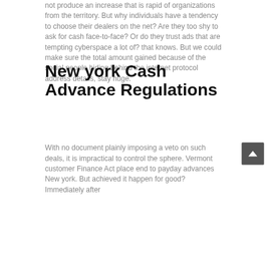not produce an increase that is rapid of organizations from the territory. But why individuals have a tendency to choose their dealers on the net? Are they too shy to ask for cash face-to-face? Or do they trust ads that are tempting cyberspace a lot of? that knows. But we could make sure the total amount gained because of the social people hiding behind the internet protocol address details, stay huge.
New york Cash Advance Regulations
With no document plainly imposing a veto on such deals, it is impractical to control the sphere. Vermont customer Finance Act place end to payday advances New york. But achieved it happen for good? Immediately after